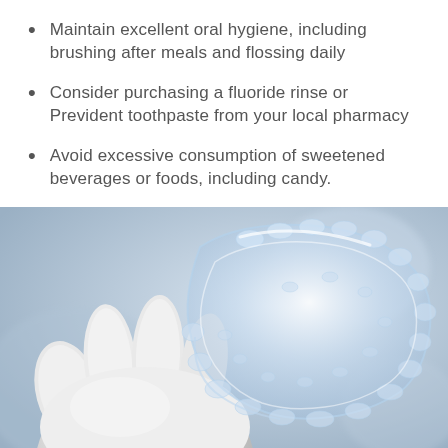Maintain excellent oral hygiene, including brushing after meals and flossing daily
Consider purchasing a fluoride rinse or Prevident toothpaste from your local pharmacy
Avoid excessive consumption of sweetened beverages or foods, including candy.
[Figure (photo): A gloved hand holding a clear transparent dental aligner/retainer tray against a soft blue-grey blurred background.]